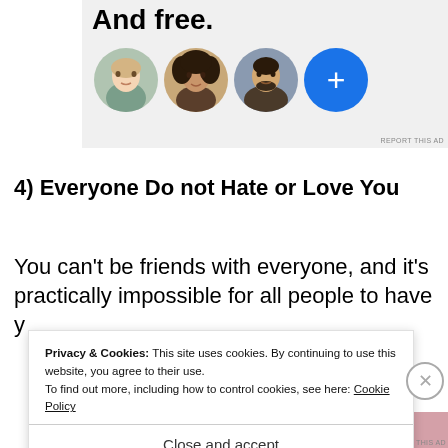[Figure (illustration): Advertisement banner with text 'And free.' and three circular avatar photos plus a blue circle with plus sign]
4) Everyone Do not Hate or Love You
You can't be friends with everyone, and it's practically impossible for all people to have your best interests at heart all the ti...
Privacy & Cookies: This site uses cookies. By continuing to use this website, you agree to their use.
To find out more, including how to control cookies, see here: Cookie Policy
Close and accept